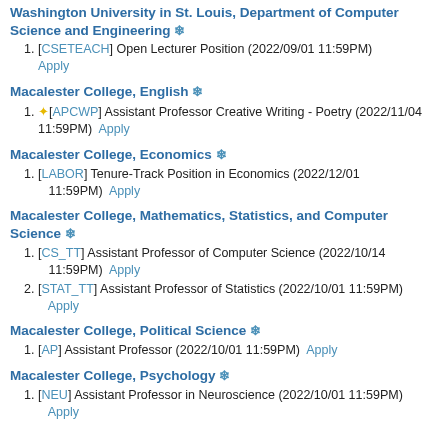Washington University in St. Louis, Department of Computer Science and Engineering ❄
[CSETEACH] Open Lecturer Position (2022/09/01 11:59PM) Apply
Macalester College, English ❄
⭐ [APCWP] Assistant Professor Creative Writing - Poetry (2022/11/04 11:59PM) Apply
Macalester College, Economics ❄
[LABOR] Tenure-Track Position in Economics (2022/12/01 11:59PM) Apply
Macalester College, Mathematics, Statistics, and Computer Science ❄
[CS_TT] Assistant Professor of Computer Science (2022/10/14 11:59PM) Apply
[STAT_TT] Assistant Professor of Statistics (2022/10/01 11:59PM) Apply
Macalester College, Political Science ❄
[AP] Assistant Professor (2022/10/01 11:59PM) Apply
Macalester College, Psychology ❄
[NEU] Assistant Professor in Neuroscience (2022/10/01 11:59PM) Apply